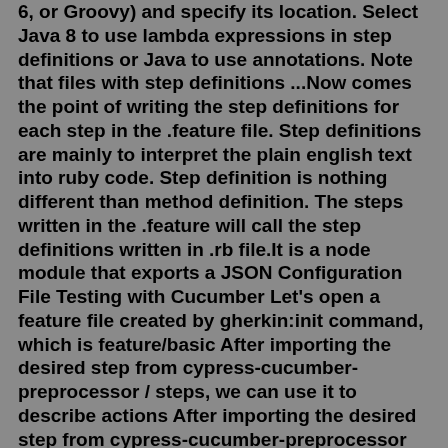6, or Groovy) and specify its location. Select Java 8 to use lambda expressions in step definitions or Java to use annotations. Note that files with step definitions ...Now comes the point of writing the step definitions for each step in the .feature file. Step definitions are mainly to interpret the plain english text into ruby code. Step definition is nothing different than method definition. The steps written in the .feature will call the step definitions written in .rb file.It is a node module that exports a JSON Configuration File Testing with Cucumber Let's open a feature file created by gherkin:init command, which is feature/basic After importing the desired step from cypress-cucumber-preprocessor / steps, we can use it to describe actions After importing the desired step from cypress-cucumber-preprocessor ...TL;DR: Should we really add steps()/step() to Cucumber.js (and -jvm, -ruby 2, etc.)?. I totally agree with you Matt. Unfortunately, this is the most wanted feature right now on Cucumber.js.. As I understand it, many people consider step definitions as methods or